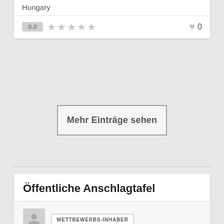Hungary
0.0 ★★★★★ 0
Mehr Einträge sehen
Öffentliche Anschlagtafel
WETTBEWERBS-INHABER
Want to thank you all the designs entered, they surely were great and made the selection a harder process.